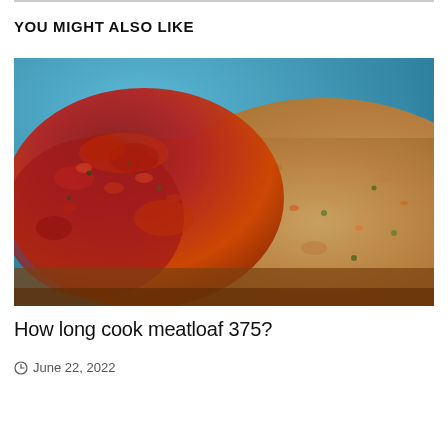YOU MIGHT ALSO LIKE
[Figure (photo): Close-up photo of a meatloaf with tomato-based glaze/sauce on top, showing the textured surface with visible herbs and vegetables mixed in, on a blue background]
How long cook meatloaf 375?
June 22, 2022